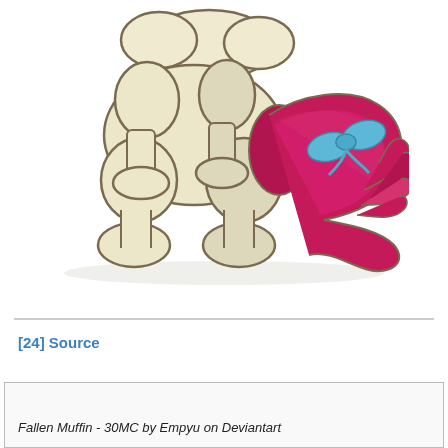[Figure (illustration): Digital cartoon illustration of the lower body/legs and tail of a cream/beige My Little Pony style pony. The tail is a vivid magenta/dark pink color tied with a light blue bow, splaying out to the right. The pony's hooves and legs are cream colored with darker outlines.]
[24] Source
[Figure (screenshot): Thumbnail preview box with a close (X) button in the top right corner, partially showing content below.]
Fallen Muffin - 30MC by Empyu on Deviantart